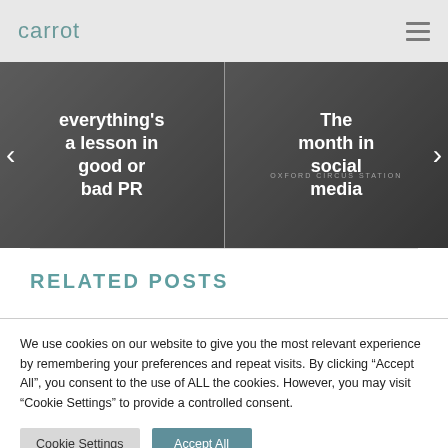carrot
[Figure (screenshot): Website slider showing two panels: left panel with text 'everything's a lesson in good or bad PR' with a left arrow, and right panel with text 'The month in social media' with OXFORD CIRCUS STATION visible in background and a right arrow.]
RELATED POSTS
We use cookies on our website to give you the most relevant experience by remembering your preferences and repeat visits. By clicking "Accept All", you consent to the use of ALL the cookies. However, you may visit "Cookie Settings" to provide a controlled consent.
Cookie Settings | Accept All